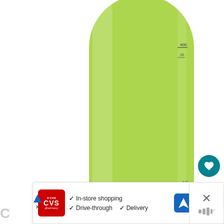[Figure (photo): A translucent lime-green plastic water bottle with measurement markings on the side, photographed from below the mid-section showing the body and base of the bottle against a white background.]
[Figure (infographic): UI overlay panel showing a teal heart (like/save) button, the number 1, and a share button (circle with share icon) stacked vertically on the right side of the screen.]
[Figure (infographic): A 'What's Next' recommendation panel showing a thumbnail image of a baby-themed article with the text: WHAT'S NEXT → and 'Life with a Baby: Baby...']
[Figure (infographic): CVS Pharmacy advertisement banner showing: CVS pharmacy logo in red, checkmarks next to 'In-store shopping', 'Drive-through', 'Delivery', and a blue navigation arrow icon.]